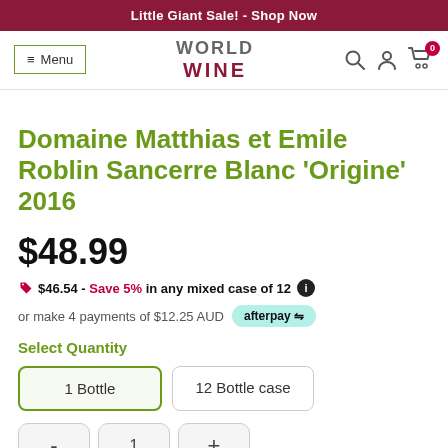Little Giant Sale! - Shop Now
[Figure (logo): World Wine logo with menu icon and navigation icons]
Domaine Matthias et Emile Roblin Sancerre Blanc 'Origine' 2016
$48.99
$46.54 - Save 5% in any mixed case of 12
or make 4 payments of $12.25 AUD  afterpay
Select Quantity
1 Bottle   12 Bottle case
- 1 +